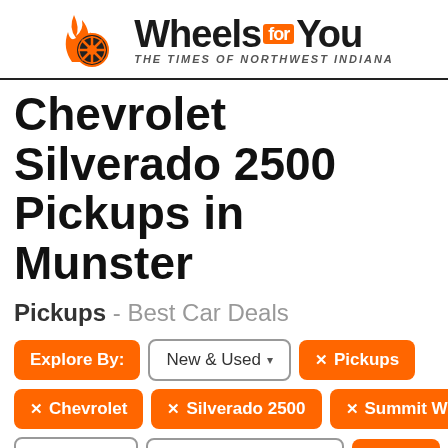[Figure (logo): WheelsForYou logo with orange flame/wheel icon and text 'Wheels for You - The Times of Northwest Indiana']
Chevrolet Silverado 2500 Pickups in Munster
Pickups - Best Car Deals
Explore By: | New & Used ▾ | ✕ Pickups
✕ Chevrolet | ✕ Silverado 2500 | ✕ Summit White
Max Price ▾ | Sort By: $ / Month Asc ▾ | ↑ Top